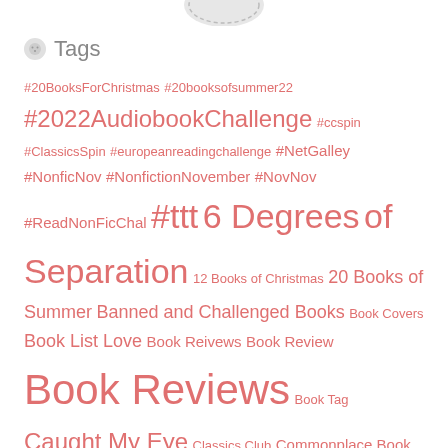[Figure (illustration): Partial view of a circular button/icon at the top center of the page]
Tags
#20BooksForChristmas #20booksofsummer22 #2022AudiobookChallenge #ccspin #ClassicsSpin #europeanreadingchallenge #NetGalley #NonficNov #NonfictionNovember #NovNov #ReadNonFicChal #ttt 6 Degrees of Separation 12 Books of Christmas 20 Books of Summer Banned and Challenged Books Book Covers Book List Love Book Reivews Book Review Book Reviews Book Tag Caught My Eye Classics Club Commonplace Book Cover Art Cover Characteristics Cross-Generational Romances in Film & Fiction Cross-Generational Romances in Real Life Dean Street Press Epistolary Historical Fiction Historical Fiction Reading Challenge Kids Books Nonfiction November Operation Christmas Child Reading Reading Across the USA Reading the Globe Reading the World Reading the World Boo...